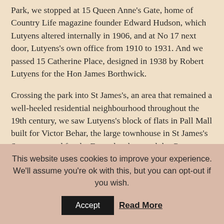Park, we stopped at 15 Queen Anne's Gate, home of Country Life magazine founder Edward Hudson, which Lutyens altered internally in 1906, and at No 17 next door, Lutyens's own office from 1910 to 1931. And we passed 15 Catherine Place, designed in 1938 by Robert Lutyens for the Hon James Borthwick.
Crossing the park into St James's, an area that remained a well-heeled residential neighbourhood throughout the 19th century, we saw Lutyens's block of flats in Pall Mall built for Victor Behar, the large townhouse in St James's Square created for the Farrer brothers and the Crane bathroom and plumbing showrooms, complete with the first UK use of the Delhi capitals. From here we walked to the Lutyens memorial in Apple Tree Yard,
This website uses cookies to improve your experience. We'll assume you're ok with this, but you can opt-out if you wish.
Accept | Read More